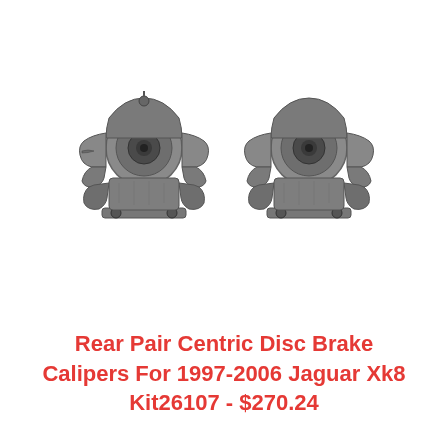[Figure (photo): Photograph of two rear disc brake calipers (left and right) for a Jaguar Xk8, shown side by side on a white background. The calipers are gray/silver cast metal with visible mounting brackets and pistons.]
Rear Pair Centric Disc Brake Calipers For 1997-2006 Jaguar Xk8 Kit26107 - $270.24